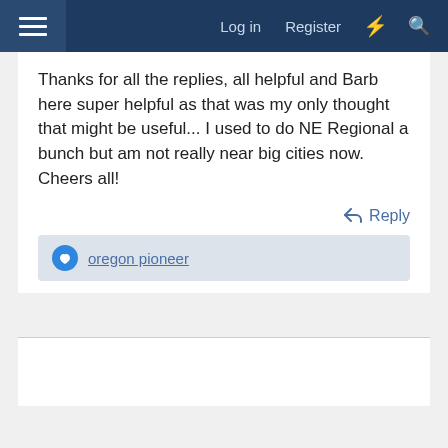Log in  Register
Thanks for all the replies, all helpful and Barb here super helpful as that was my only thought that might be useful... I used to do NE Regional a bunch but am not really near big cities now. Cheers all!
Reply
oregon pioneer